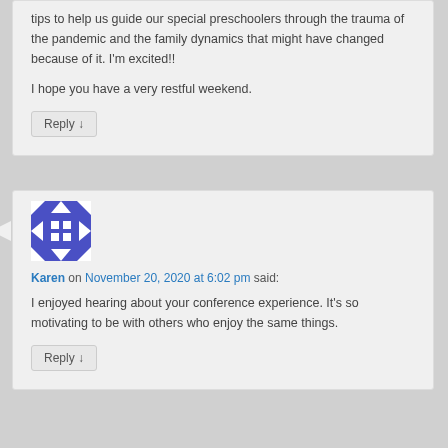tips to help us guide our special preschoolers through the trauma of the pandemic and the family dynamics that might have changed because of it. I'm excited!!
I hope you have a very restful weekend.
Reply ↓
[Figure (illustration): Geometric gravatar avatar icon with blue and white pattern]
Karen on November 20, 2020 at 6:02 pm said:
I enjoyed hearing about your conference experience. It's so motivating to be with others who enjoy the same things.
Reply ↓